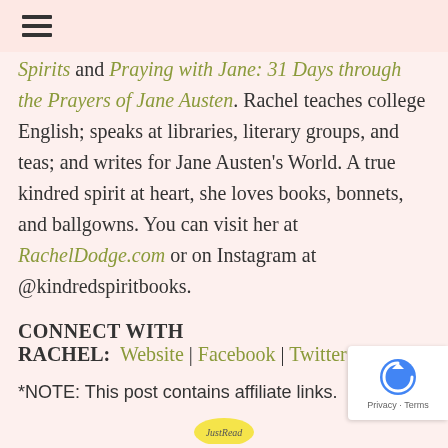≡ (hamburger menu icon)
Spirits and Praying with Jane: 31 Days through the Prayers of Jane Austen. Rachel teaches college English; speaks at libraries, literary groups, and teas; and writes for Jane Austen's World. A true kindred spirit at heart, she loves books, bonnets, and ballgowns. You can visit her at RachelDodge.com or on Instagram at @kindredspiritbooks.
CONNECT WITH RACHEL:  Website | Facebook | Twitter | I
*NOTE: This post contains affiliate links.